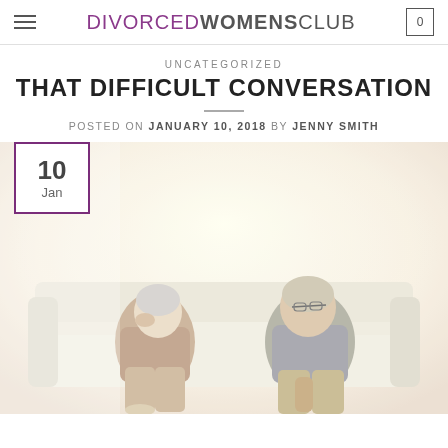DIVORCED WOMENS CLUB | 0
UNCATEGORIZED
THAT DIFFICULT CONVERSATION
POSTED ON JANUARY 10, 2018 BY JENNY SMITH
[Figure (photo): An older couple sitting apart on a white sofa, not looking at each other. The woman on the left holds her hand to her face looking away, the man on the right looks toward her. Bright, warm-toned background. Date badge overlay showing '10 Jan' in a purple-bordered box.]